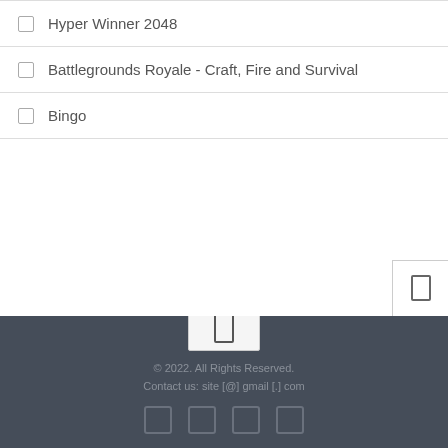Hyper Winner 2048
Battlegrounds Royale - Craft, Fire and Survival
Bingo
© 2022. All Rights Reserved.
Contact us: site [@] gmail [.] com